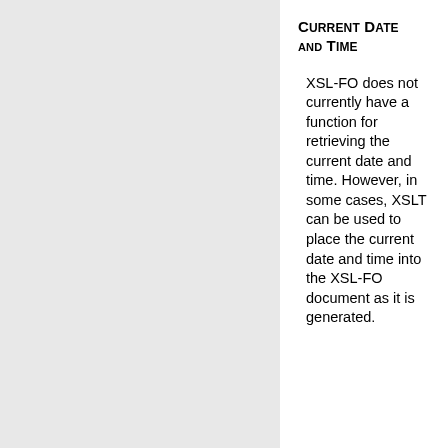Current Date and Time
XSL-FO does not currently have a function for retrieving the current date and time. However, in some cases, XSLT can be used to place the current date and time into the XSL-FO document as it is generated.